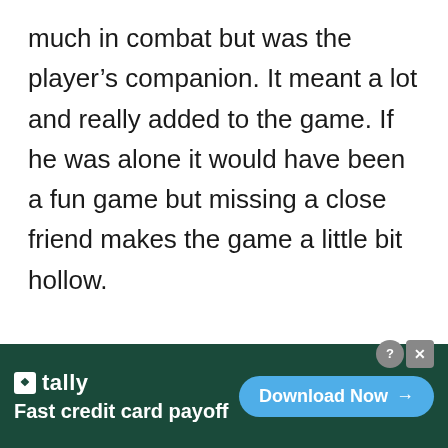much in combat but was the player's companion. It meant a lot and really added to the game. If he was alone it would have been a fun game but missing a close friend makes the game a little bit hollow.

Since we want to share in the victory with a friend you should
[Figure (other): Advertisement banner for Tally app — 'Fast credit card payoff' with a 'Download Now' button on a dark green background.]